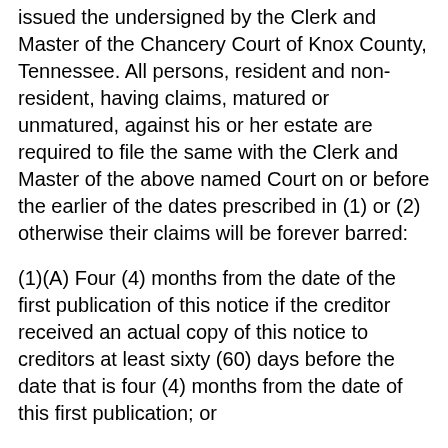issued the undersigned by the Clerk and Master of the Chancery Court of Knox County, Tennessee. All persons, resident and non-resident, having claims, matured or unmatured, against his or her estate are required to file the same with the Clerk and Master of the above named Court on or before the earlier of the dates prescribed in (1) or (2) otherwise their claims will be forever barred:
(1)(A) Four (4) months from the date of the first publication of this notice if the creditor received an actual copy of this notice to creditors at least sixty (60) days before the date that is four (4) months from the date of this first publication; or
(B} Sixty (60) days from the date the creditor received an actual copy of the no ice to creditors if the creditor received the copy of